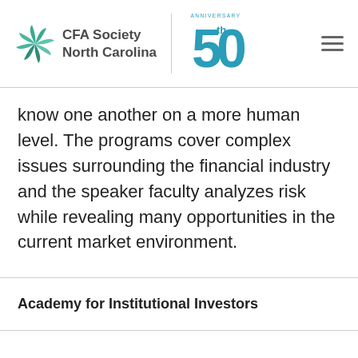CFA Society North Carolina | 50th Anniversary
know one another on a more human level. The programs cover complex issues surrounding the financial industry and the speaker faculty analyzes risk while revealing many opportunities in the current market environment.
Academy for Institutional Investors